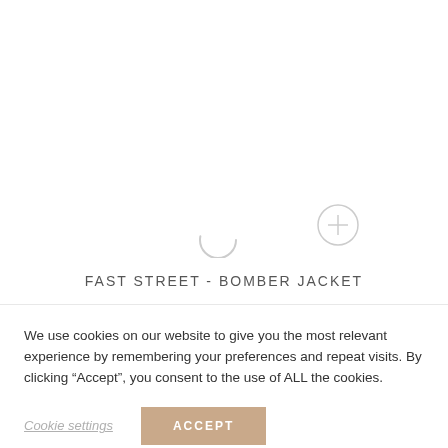[Figure (other): White product image area with a loading spinner arc and a plus-circle icon overlay, indicating a product photo is loading]
FAST STREET - BOMBER JACKET
We use cookies on our website to give you the most relevant experience by remembering your preferences and repeat visits. By clicking “Accept”, you consent to the use of ALL the cookies.
Cookie settings | ACCEPT